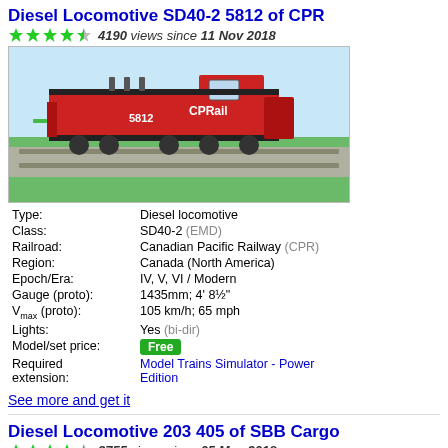Diesel Locomotive SD40-2 5812 of CPR
4190 views since 11 Nov 2018
[Figure (photo): 3D render of a red CPR Rail SD40-2 diesel locomotive numbered 5812 on a track with green grass and light blue sky background]
| Field | Value |
| --- | --- |
| Type: | Diesel locomotive |
| Class: | SD40-2 (EMD) |
| Railroad: | Canadian Pacific Railway (CPR) |
| Region: | Canada (North America) |
| Epoch/Era: | IV, V, VI / Modern |
| Gauge (proto): | 1435mm; 4' 8½" |
| Vmax (proto): | 105 km/h; 65 mph |
| Lights: | Yes (bi-dir) |
| Model/set price: | Free |
| Required extension: | Model Trains Simulator - Power Edition |
See more and get it
Diesel Locomotive 203 405 of SBB Cargo
2755 views since 05 May 2018
[Figure (photo): Partial view of a diesel locomotive, light blue background visible]